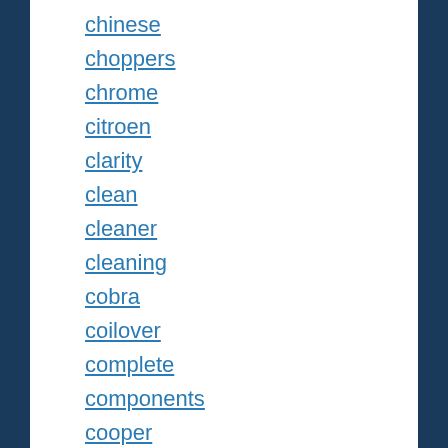chinese
choppers
chrome
citroen
clarity
clean
cleaner
cleaning
cobra
coilover
complete
components
cooper
cover